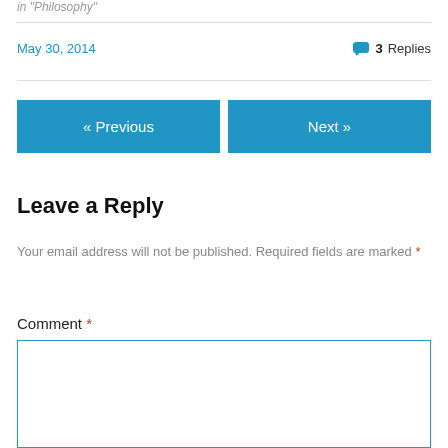in  Philosophy
May 30, 2014
3 Replies
« Previous
Next »
Leave a Reply
Your email address will not be published. Required fields are marked *
Comment *